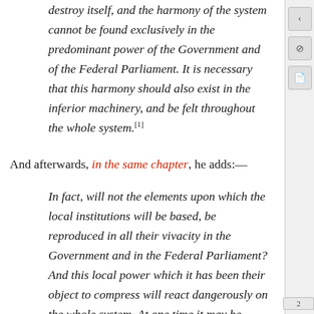destroy itself, and the harmony of the system cannot be found exclusively in the predominant power of the Government and of the Federal Parliament. It is necessary that this harmony should also exist in the inferior machinery, and be felt throughout the whole system.[1]
And afterwards, in the same chapter, he adds:—
In fact, will not the elements upon which the local institutions will be based, be reproduced in all their vivacity in the Government and in the Federal Parliament? And this local power which it has been their object to compress will react dangerously on the whole system. At one time it may be Lower Canada that will be punishing its Ministry and its members for having wounded Lower Canadian feelings and striking at its interest; and another time it may be Upper Canada, or perhaps the